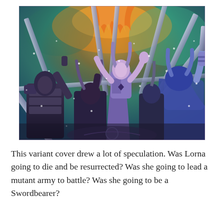[Figure (illustration): Comic book illustration showing a group of armored warriors and mutant characters raising swords into the air amid a dramatic scene with orange fire and teal/green cosmic background with snowflakes. A central purple-skinned female figure with horned helmet stands prominently.]
This variant cover drew a lot of speculation. Was Lorna going to die and be resurrected? Was she going to lead a mutant army to battle? Was she going to be a Swordbearer?